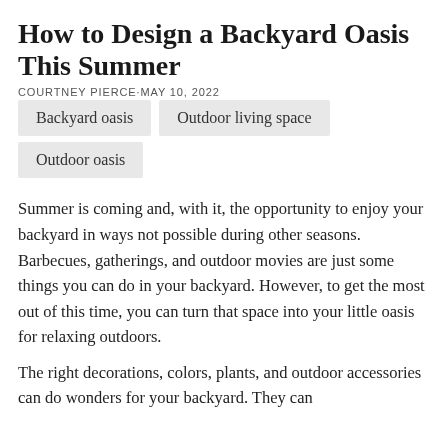How to Design a Backyard Oasis This Summer
COURTNEY PIERCE·MAY 10, 2022
Backyard oasis
Outdoor living space
Outdoor oasis
Summer is coming and, with it, the opportunity to enjoy your backyard in ways not possible during other seasons. Barbecues, gatherings, and outdoor movies are just some things you can do in your backyard. However, to get the most out of this time, you can turn that space into your little oasis for relaxing outdoors.
The right decorations, colors, plants, and outdoor accessories can do wonders for your backyard. They can